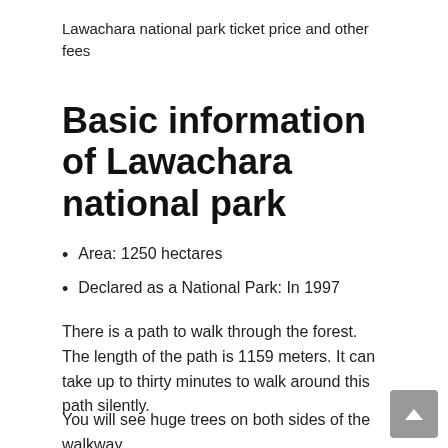Lawachara national park ticket price and other fees
Basic information of Lawachara national park
Area: 1250 hectares
Declared as a National Park: In 1997
There is a path to walk through the forest. The length of the path is 1159 meters. It can take up to thirty minutes to walk around this path silently.
You will see huge trees on both sides of the walkway.